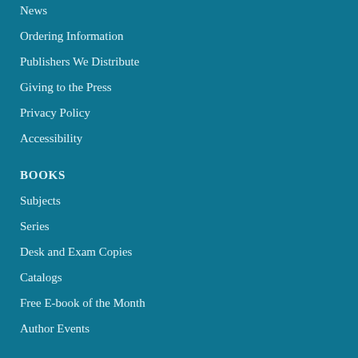News
Ordering Information
Publishers We Distribute
Giving to the Press
Privacy Policy
Accessibility
BOOKS
Subjects
Series
Desk and Exam Copies
Catalogs
Free E-book of the Month
Author Events